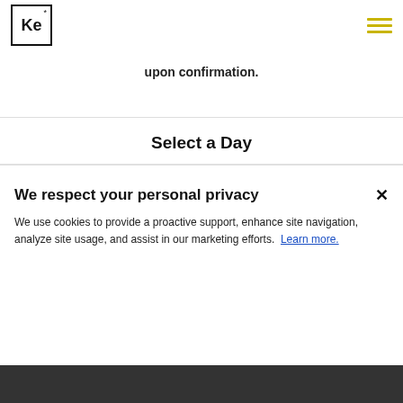Ke* [logo] [hamburger menu]
upon confirmation.
Select a Day
We respect your personal privacy
We use cookies to provide a proactive support, enhance site navigation, analyze site usage, and assist in our marketing efforts.  Learn more.